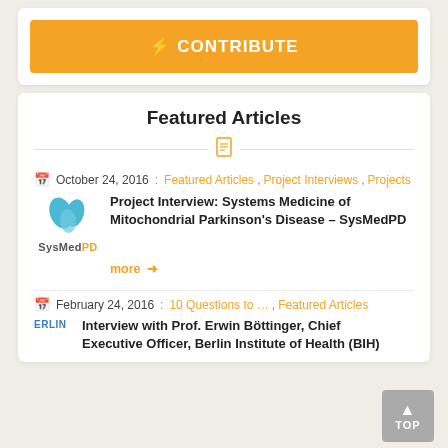CONTRIBUTE
Featured Articles
October 24, 2016 : Featured Articles, Project Interviews, Projects — Project Interview: Systems Medicine of Mitochondrial Parkinson's Disease – SysMedPD — more →
February 24, 2016 : 10 Questions to ..., Featured Articles — Interview with Prof. Erwin Böttinger, Chief...